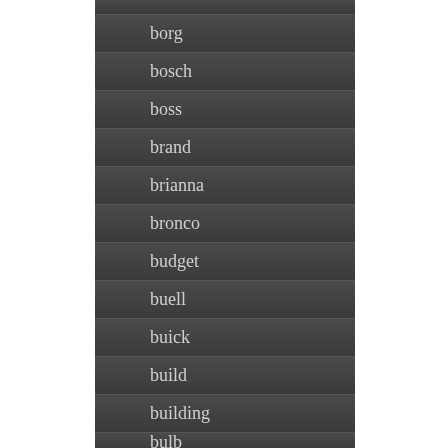borg
bosch
boss
brand
brianna
bronco
budget
buell
buick
build
building
bulb